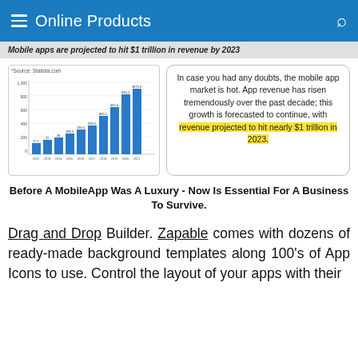Online Products
Mobile apps are projected to hit $1 trillion in revenue by 2023
[Figure (bar-chart): Mobile app revenue projection]
In case you had any doubts, the mobile app market is hot. App revenue has risen tremendously over the past decade; this growth is forecasted to continue, with revenue projected to hit nearly $1 trillion in 2023.
Before A MobileApp Was A Luxury - Now Is Essential For A Business To Survive.
Drag and Drop Builder. Zapable comes with dozens of ready-made background templates along 100's of App Icons to use. Control the layout of your apps with their